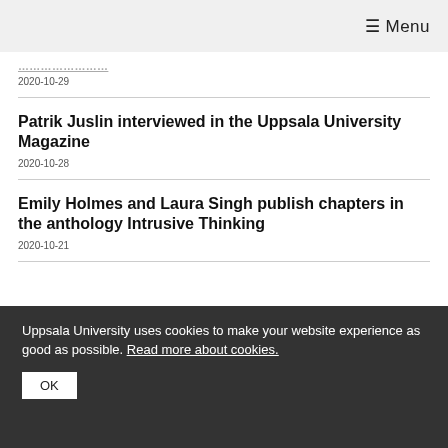☰ Menu
…hanover
2020-10-29
Patrik Juslin interviewed in the Uppsala University Magazine
2020-10-28
Emily Holmes and Laura Singh publish chapters in the anthology Intrusive Thinking
2020-10-21
Uppsala University uses cookies to make your website experience as good as possible. Read more about cookies.
OK